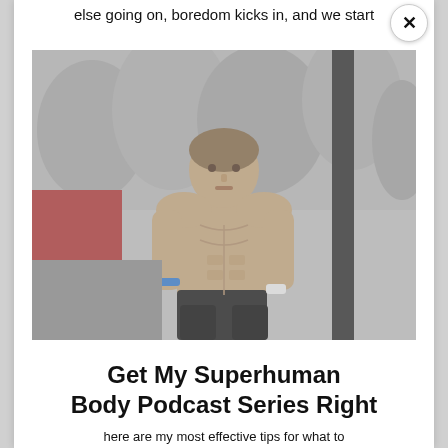else going on, boredom kicks in, and we start
[Figure (photo): A shirtless athletic man with a muscular physique standing outdoors with snow-covered trees in the background, wearing black shorts and a blue wristband.]
Get My Superhuman Body Podcast Series Right
here are my most effective tips for what to